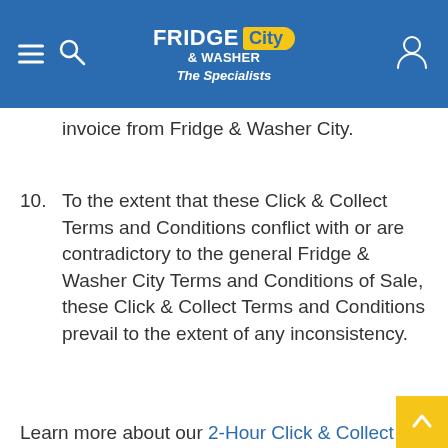Fridge & Washer City — The Specialists
invoice from Fridge & Washer City.
10. To the extent that these Click & Collect Terms and Conditions conflict with or are contradictory to the general Fridge & Washer City Terms and Conditions of Sale, these Click & Collect Terms and Conditions prevail to the extent of any inconsistency.
Learn more about our 2-Hour Click & Collect
Returns Policy